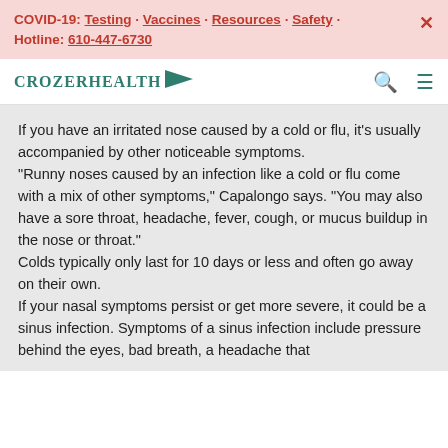COVID-19: Testing · Vaccines · Resources · Safety · Hotline: 610-447-6730
[Figure (logo): CrozerHealth logo with green text and arrow icon]
If you have an irritated nose caused by a cold or flu, it's usually accompanied by other noticeable symptoms.
"Runny noses caused by an infection like a cold or flu come with a mix of other symptoms," Capalongo says. "You may also have a sore throat, headache, fever, cough, or mucus buildup in the nose or throat."
Colds typically only last for 10 days or less and often go away on their own.
If your nasal symptoms persist or get more severe, it could be a sinus infection. Symptoms of a sinus infection include pressure behind the eyes, bad breath, a headache that